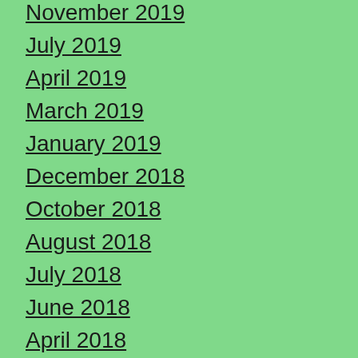November 2019
July 2019
April 2019
March 2019
January 2019
December 2018
October 2018
August 2018
July 2018
June 2018
April 2018
March 2018
February 2018
January 2018